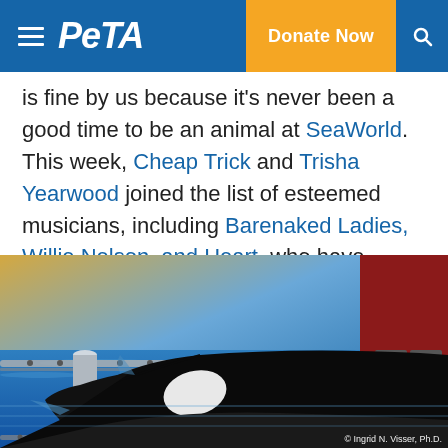PETA — Donate Now
is fine by us because it's never been a good time to be an animal at SeaWorld. This week, Cheap Trick and Trisha Yearwood joined the list of esteemed musicians, including Barenaked Ladies, Willie Nelson, and Heart, who have canceled shows at the park.
[Figure (photo): An orca whale at SeaWorld, partially emerged from blue water near metal equipment. Photo credit: © Ingrid N. Visser, Ph.D.]